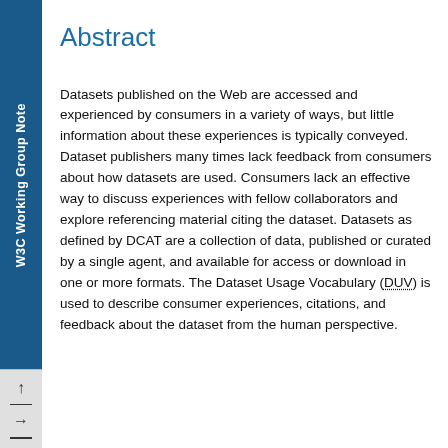W3C Working Group Note
Abstract
Datasets published on the Web are accessed and experienced by consumers in a variety of ways, but little information about these experiences is typically conveyed. Dataset publishers many times lack feedback from consumers about how datasets are used. Consumers lack an effective way to discuss experiences with fellow collaborators and explore referencing material citing the dataset. Datasets as defined by DCAT are a collection of data, published or curated by a single agent, and available for access or download in one or more formats. The Dataset Usage Vocabulary (DUV) is used to describe consumer experiences, citations, and feedback about the dataset from the human perspective.